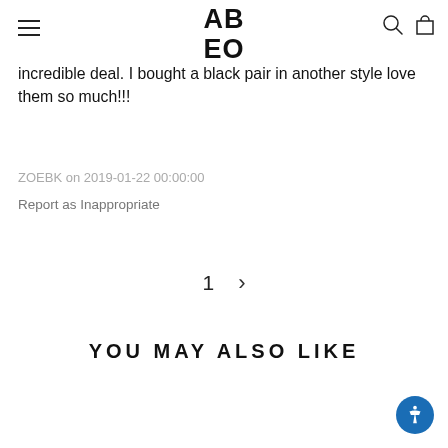ABEO
incredible deal. I bought a black pair in another style love them so much!!!
ZOEBK on 2019-01-22 00:00:00
Report as Inappropriate
1 >
YOU MAY ALSO LIKE